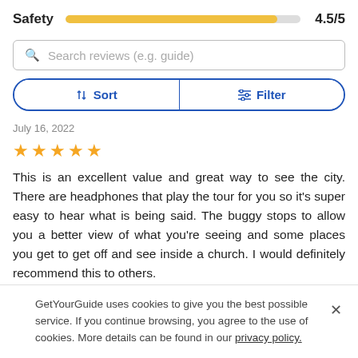Safety 4.5/5
Search reviews (e.g. guide)
Sort   Filter
July 16, 2022
[Figure (other): Five gold stars rating]
This is an excellent value and great way to see the city. There are headphones that play the tour for you so it's super easy to hear what is being said. The buggy stops to allow you a better view of what you're seeing and some places you get to get off and see inside a church. I would definitely recommend this to others.
GetYourGuide uses cookies to give you the best possible service. If you continue browsing, you agree to the use of cookies. More details can be found in our privacy policy.